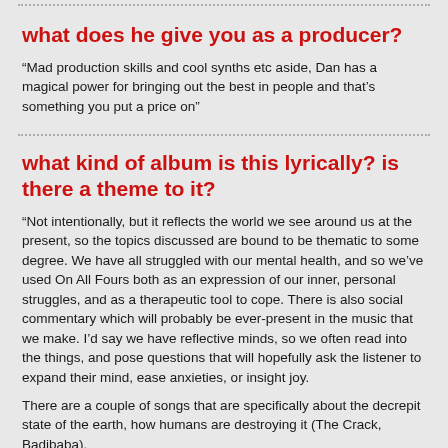what does he give you as a producer?
“Mad production skills and cool synths etc aside, Dan has a magical power for bringing out the best in people and that’s something you put a price on”
what kind of album is this lyrically? is there a theme to it?
“Not intentionally, but it reflects the world we see around us at the present, so the topics discussed are bound to be thematic to some degree. We have all struggled with our mental health, and so we’ve used On All Fours both as an expression of our inner, personal struggles, and as a therapeutic tool to cope. There is also social commentary which will probably be ever-present in the music that we make. I’d say we have reflective minds, so we often read into the things, and pose questions that will hopefully ask the listener to expand their mind, ease anxieties, or insight joy.
There are a couple of songs that are specifically about the decrepit state of the earth, how humans are destroying it (The Crack, Badibaba).